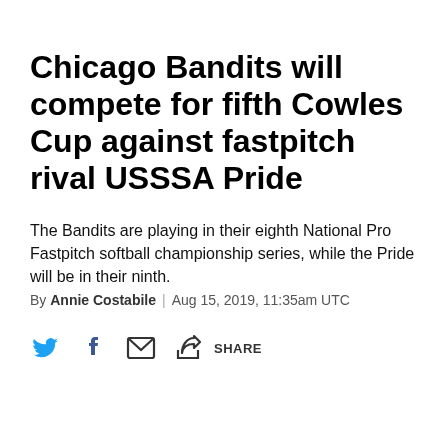Chicago Bandits will compete for fifth Cowles Cup against fastpitch rival USSSA Pride
The Bandits are playing in their eighth National Pro Fastpitch softball championship series, while the Pride will be in their ninth.
By Annie Costabile | Aug 15, 2019, 11:35am UTC
[Figure (infographic): Social share icons row: Twitter bird icon (blue), Facebook f icon (blue), envelope/email icon (dark), share/export icon (dark), and SHARE text label]